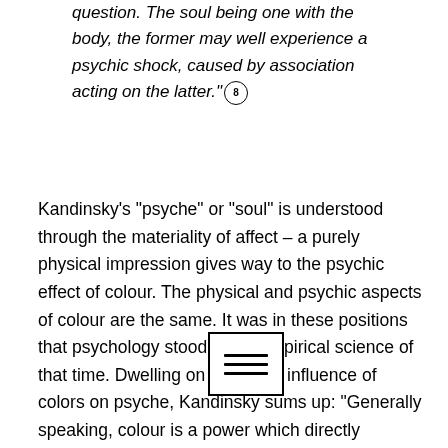question. The soul being one with the body, the former may well experience a psychic shock, caused by association acting on the latter." [8]
Kandinsky's "psyche" or "soul" is understood through the materiality of affect – a purely physical impression gives way to the psychic effect of colour. The physical and psychic aspects of colour are the same. It was in these positions that psychology stood as an empirical science of that time. Dwelling on the direct influence of colors on psyche, Kandinsky sums up: "Generally speaking, colour is a power which directly influences the soul. Colour is the keyboard, the eyes are the hammers, the soul is the piano with many strings. The artist is the
[Figure (other): A small square icon with three horizontal lines (hamburger/menu icon), bordered with a black rectangle outline]